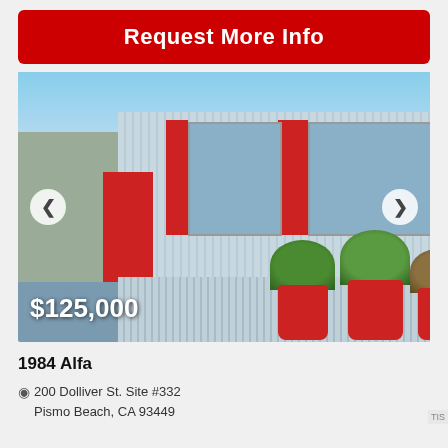Request More Info
[Figure (photo): Exterior photo of a 1984 Alfa mobile home with silver corrugated metal siding, red shutters around windows, red stairs on left side, red potted plants in front, price overlay showing $125,000, and navigation arrows on sides.]
1984 Alfa
200 Dolliver St. Site #332
Pismo Beach, CA 93449